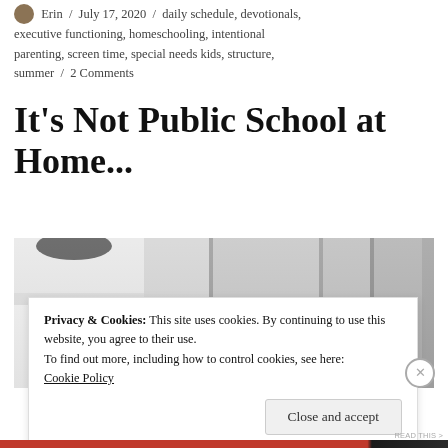Erin / July 17, 2020 / daily schedule, devotionals, executive functioning, homeschooling, intentional parenting, screen time, special needs kids, structure, summer / 2 Comments
It's Not Public School at Home...
[Figure (photo): Black and white photo of a person in a white top near a cabinet/bookshelf]
Privacy & Cookies: This site uses cookies. By continuing to use this website, you agree to their use.
To find out more, including how to control cookies, see here: Cookie Policy
Close and accept